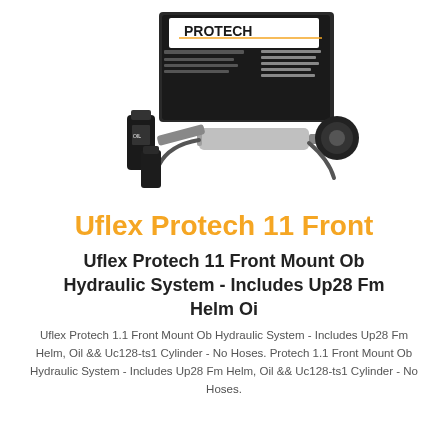[Figure (photo): Product photo of Uflex Protech 11 hydraulic steering system kit, showing box, cylinder, helm pump, hoses and oil bottle arranged together]
Uflex Protech 11 Front
Uflex Protech 11 Front Mount Ob Hydraulic System - Includes Up28 Fm Helm Oi
Uflex Protech 1.1 Front Mount Ob Hydraulic System - Includes Up28 Fm Helm, Oil && Uc128-ts1 Cylinder - No Hoses. Protech 1.1 Front Mount Ob Hydraulic System - Includes Up28 Fm Helm, Oil && Uc128-ts1 Cylinder - No Hoses.